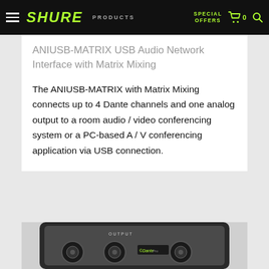SHURE | PRODUCTS | SPECIAL OFFERS | Cart 0
ANIUSB-MATRIX USB Audio Network Interface with Matrix Mixing
The ANIUSB-MATRIX with Matrix Mixing connects up to 4 Dante channels and one analog output to a room audio / video conferencing system or a PC-based A / V conferencing application via USB connection.
[Figure (photo): Bottom portion of ANIUSB-MATRIX device showing OUTPUT connectors and Dante logo on the device panel]